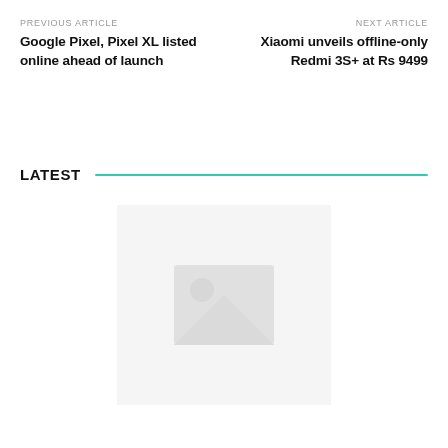PREVIOUS ARTICLE
Google Pixel, Pixel XL listed online ahead of launch
NEXT ARTICLE
Xiaomi unveils offline-only Redmi 3S+ at Rs 9499
LATEST
[Figure (photo): Thumbnail placeholder image area with a faint logo watermark]